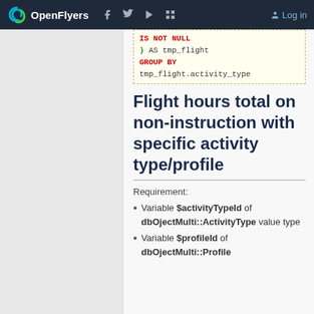OpenFlyers | Log in
[Figure (screenshot): Code block showing SQL snippet: IS NOT NULL / ) AS tmp_flight / GROUP BY / tmp_flight.activity_type]
Flight hours total on non-instruction with specific activity type/profile
Requirement:
Variable $activityTypeId of dbOjectMulti::ActivityType value type
Variable $profileId of dbOjectMulti::Profile